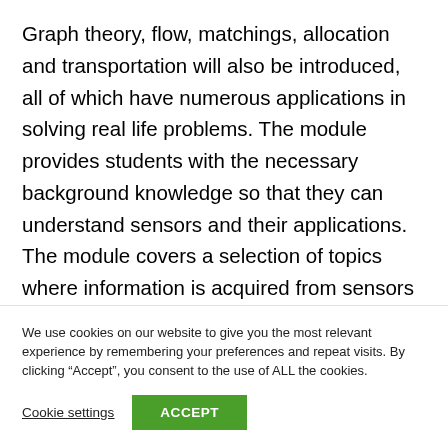Graph theory, flow, matchings, allocation and transportation will also be introduced, all of which have numerous applications in solving real life problems. The module provides students with the necessary background knowledge so that they can understand sensors and their applications. The module covers a selection of topics where information is acquired from sensors and subsequently electronically processed
We use cookies on our website to give you the most relevant experience by remembering your preferences and repeat visits. By clicking “Accept”, you consent to the use of ALL the cookies.
Cookie settings
ACCEPT